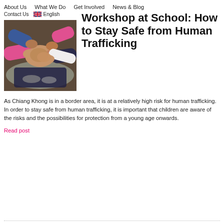About Us   What We Do   Get Involved   News & Blog
Contact Us   🇬🇧 English
[Figure (photo): Children sitting in a circle with hands joined together, seen from above. Pink and dark clothing visible.]
Workshop at School: How to Stay Safe from Human Trafficking
As Chiang Khong is in a border area, it is at a relatively high risk for human trafficking. In order to stay safe from human trafficking, it is important that children are aware of the risks and the possibilities for protection from a young age onwards.
Read post